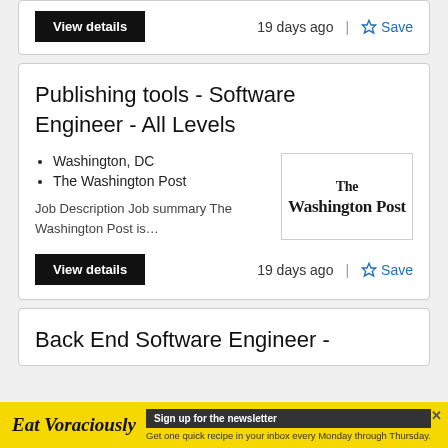View details  19 days ago  Save
Publishing tools - Software Engineer - All Levels
Washington, DC
The Washington Post
Job Description Job summary The Washington Post is…
[Figure (logo): The Washington Post newspaper logo in blackletter font]
View details  19 days ago  Save
Back End Software Engineer -
[Figure (infographic): Eat Voraciously newsletter ad banner with yellow background. Text: Eat Voraciously. Sign up for the newsletter. Get one quick recipe in your inbox every Monday through Thursday.]